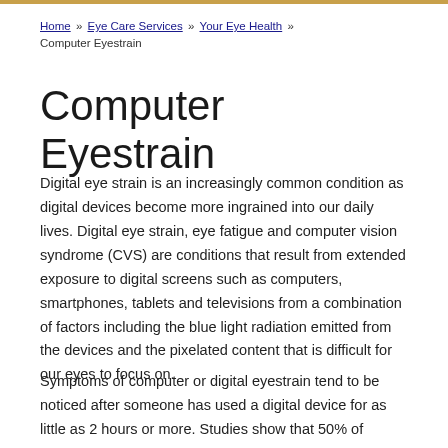Home » Eye Care Services » Your Eye Health » Computer Eyestrain
Computer Eyestrain
Digital eye strain is an increasingly common condition as digital devices become more ingrained into our daily lives. Digital eye strain, eye fatigue and computer vision syndrome (CVS) are conditions that result from extended exposure to digital screens such as computers, smartphones, tablets and televisions from a combination of factors including the blue light radiation emitted from the devices and the pixelated content that is difficult for our eyes to focus on.
Symptoms of computer or digital eyestrain tend to be noticed after someone has used a digital device for as little as 2 hours or more. Studies show that 50% of computer...